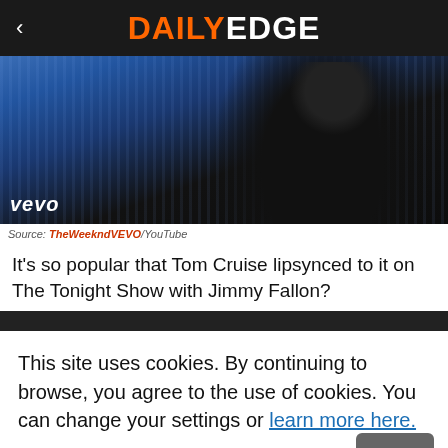< DAILY EDGE
[Figure (photo): A man singing into a microphone against a glittery blue background with a VEVO watermark in the lower left corner.]
Source: TheWeekndVEVO/YouTube
It's so popular that Tom Cruise lipsynced to it on The Tonight Show with Jimmy Fallon?
This site uses cookies. By continuing to browse, you agree to the use of cookies. You can change your settings or learn more here.